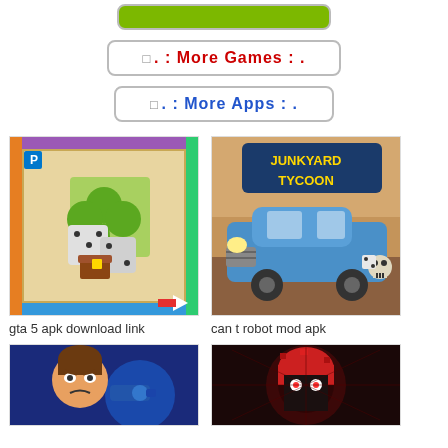[Figure (other): Green banner/button bar at top]
□ . : More Games : .
□ . : More Apps : .
[Figure (screenshot): Game thumbnail for 'gta 5 apk download link' - Monopoly-style board game with dice and clover]
gta 5 apk download link
[Figure (screenshot): Game thumbnail for 'can t robot mod apk' - Junkyard Tycoon game with old blue car]
can t robot mod apk
[Figure (screenshot): Game thumbnail bottom-left - animated character with brown hair]
[Figure (screenshot): Game thumbnail bottom-right - pixel character with red afro and glowing eyes]